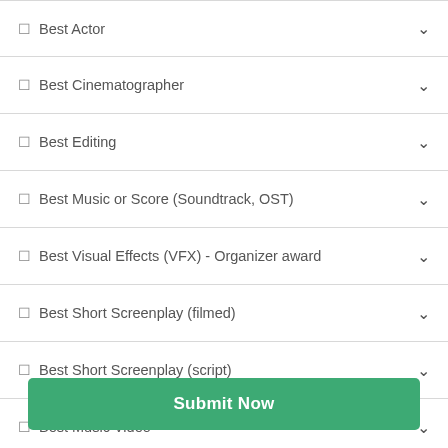Best Actor
Best Cinematographer
Best Editing
Best Music or Score (Soundtrack, OST)
Best Visual Effects (VFX) - Organizer award
Best Short Screenplay (filmed)
Best Short Screenplay (script)
Best Music Video
Submit Now